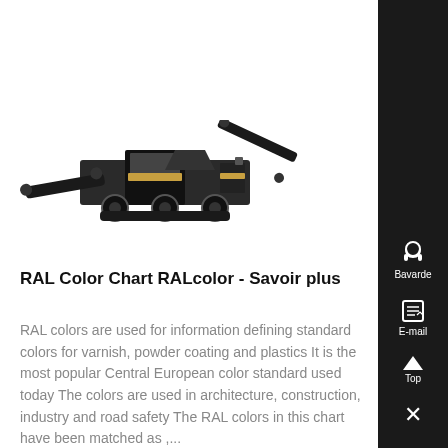[Figure (photo): A mobile crushing/screening machine (heavy industrial equipment on tracks/wheels) rendered in black and gray tones.]
RAL Color Chart RALcolor - Savoir plus
RAL colors are used for information defining standard colors for varnish, powder coating and plastics It is the most popular Central European color standard used today The colors are used in architecture, construction, industry and road safety The RAL colors in this chart have been matched as ,...